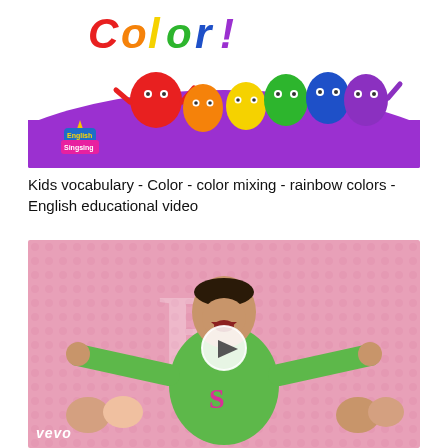[Figure (screenshot): Kids vocabulary color mixing rainbow colors educational video thumbnail showing colorful cartoon blob characters (red, orange, yellow, green, blue, purple) with English Singsing logo on purple background]
Kids vocabulary - Color - color mixing - rainbow colors - English educational video
[Figure (screenshot): Vevo music video thumbnail showing a young man in a green letterman jacket with arms spread wide, laughing, against a pink background with people sitting in background. Play button overlay in center.]